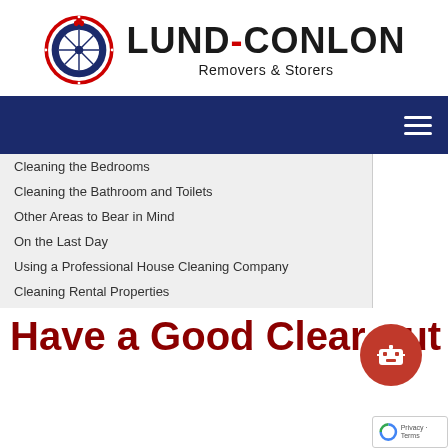[Figure (logo): Lund-Conlon Removers & Storers logo with circular badge emblem and company name]
Cleaning the Bedrooms
Cleaning the Bathroom and Toilets
Other Areas to Bear in Mind
On the Last Day
Using a Professional House Cleaning Company
Cleaning Rental Properties
Have a Good Clear-out